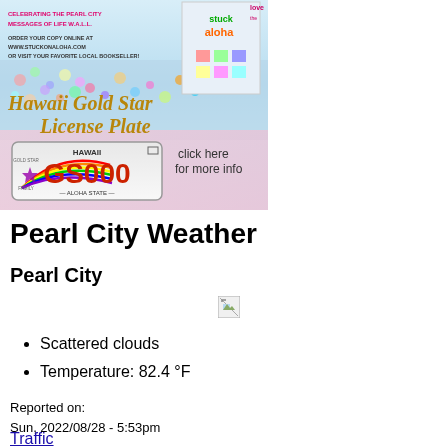[Figure (illustration): Advertisement banner for 'Stuck on Aloha' book celebrating Pearl City Messages of Life W.A.L.L., with Hawaii Gold Star License Plate showing GS000 plate with rainbow and 'ALOHA STATE' text, and 'click here for more info' text. Order link: www.stuckonaloha.com]
Pearl City Weather
Pearl City
[Figure (illustration): Broken/missing weather icon image]
Scattered clouds
Temperature: 82.4 °F
Reported on:
Sun, 2022/08/28 - 5:53pm
Traffic